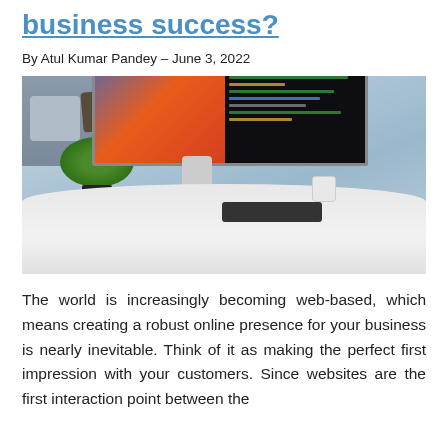business success?
By Atul Kumar Pandey – June 3, 2022
[Figure (photo): A curved ultrawide monitor on a white desk displaying colorful abstract wallpaper on the left half and code editor on the right half. A small plant, keyboard, and mug are on the desk. A sofa is visible in the background.]
The world is increasingly becoming web-based, which means creating a robust online presence for your business is nearly inevitable. Think of it as making the perfect first impression with your customers. Since websites are the first interaction point between the